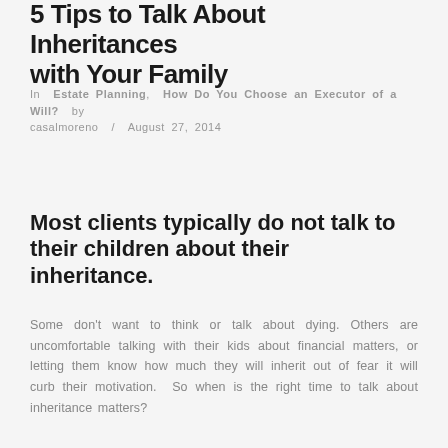5 Tips to Talk About Inheritances with Your Family
In Estate Planning, How Do You Choose an Executor of a Will? by casalmoreno / August 27, 2014
Most clients typically do not talk to their children about their inheritance.
Some don't want to think or talk about dying. Others are uncomfortable talking with their kids about financial matters, or letting them know how much they will inherit out of fear it will curb their motivation. So when is the right time to talk about inheritance matters?